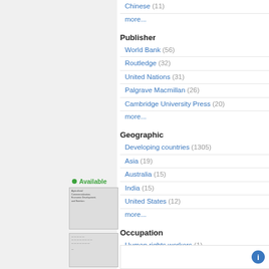Chinese (11)
more...
Publisher
World Bank (56)
Routledge (32)
United Nations (31)
Palgrave Macmillan (26)
Cambridge University Press (20)
more...
Geographic
Developing countries (1305)
Asia (19)
Australia (15)
India (15)
United States (12)
more...
Occupation
Human rights workers (1)
Political activists (1)
Researchers (1)
[Figure (illustration): Book thumbnail for Agricultural Commercialization, Economic Development, and Nutrition]
[Figure (illustration): Second book thumbnail]